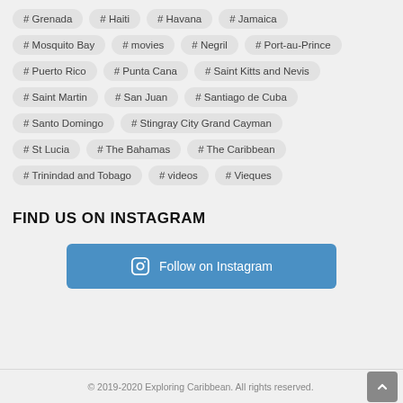# Grenada
# Haiti
# Havana
# Jamaica
# Mosquito Bay
# movies
# Negril
# Port-au-Prince
# Puerto Rico
# Punta Cana
# Saint Kitts and Nevis
# Saint Martin
# San Juan
# Santiago de Cuba
# Santo Domingo
# Stingray City Grand Cayman
# St Lucia
# The Bahamas
# The Caribbean
# Trinindad and Tobago
# videos
# Vieques
FIND US ON INSTAGRAM
Follow on Instagram
© 2019-2020 Exploring Caribbean. All rights reserved.